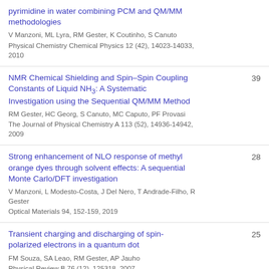pyrimidine in water combining PCM and QM/MM methodologies
V Manzoni, ML Lyra, RM Gester, K Coutinho, S Canuto
Physical Chemistry Chemical Physics 12 (42), 14023-14033, 2010
NMR Chemical Shielding and Spin–Spin Coupling Constants of Liquid NH3: A Systematic Investigation using the Sequential QM/MM Method
RM Gester, HC Georg, S Canuto, MC Caputo, PF Provasi
The Journal of Physical Chemistry A 113 (52), 14936-14942, 2009
39
Strong enhancement of NLO response of methyl orange dyes through solvent effects: A sequential Monte Carlo/DFT investigation
V Manzoni, L Modesto-Costa, J Del Nero, T Andrade-Filho, R Gester
Optical Materials 94, 152-159, 2019
28
Transient charging and discharging of spin-polarized electrons in a quantum dot
FM Souza, SA Leao, RM Gester, AP Jauho
Physical Review B 76 (12), 125318, 2007
25